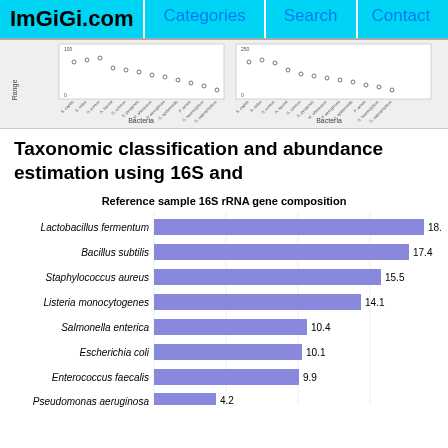ImGiGi.com | Categories | Search | Contact
[Figure (continuous-plot): Two scatter/dot plots showing bacterial data with axes labeled 'Bacteria' and 'Range', showing distributions for various bacterial species.]
Taxonomic classification and abundance estimation using 16S and
[Figure (bar-chart): Reference sample 16S rRNA gene composition]